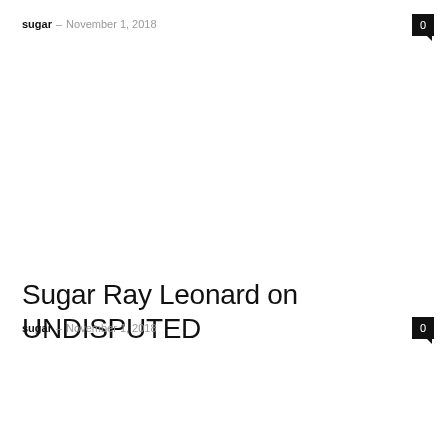sugar – November 1, 2018
Sugar Ray Leonard on UNDISPUTED
sugar – November 1, 2018